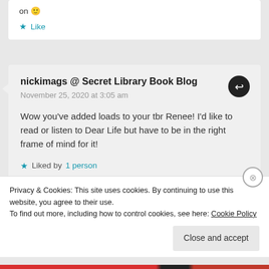on 🙂
★ Like
nickimags @ Secret Library Book Blog
November 25, 2020 at 3:05 am
Wow you've added loads to your tbr Renee! I'd like to read or listen to Dear Life but have to be in the right frame of mind for it!
★ Liked by 1 person
Privacy & Cookies: This site uses cookies. By continuing to use this website, you agree to their use.
To find out more, including how to control cookies, see here: Cookie Policy
Close and accept